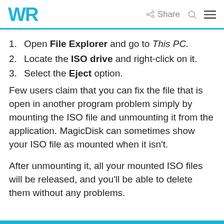WR  Share  [search icon]  [menu icon]
1. Open File Explorer and go to This PC.
2. Locate the ISO drive and right-click on it.
3. Select the Eject option.
Few users claim that you can fix the file that is open in another program problem simply by mounting the ISO file and unmounting it from the application. MagicDisk can sometimes show your ISO file as mounted when it isn't.
After unmounting it, all your mounted ISO files will be released, and you'll be able to delete them without any problems.